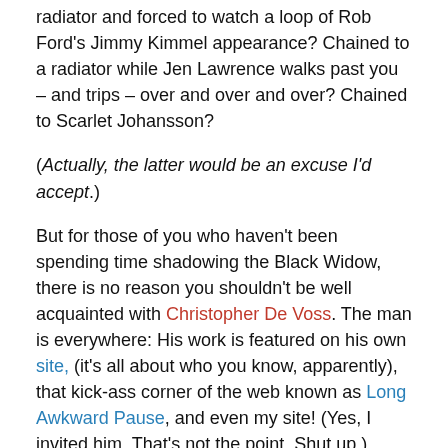radiator and forced to watch a loop of Rob Ford's Jimmy Kimmel appearance? Chained to a radiator while Jen Lawrence walks past you – and trips – over and over and over? Chained to Scarlet Johansson?
(Actually, the latter would be an excuse I'd accept.)
But for those of you who haven't been spending time shadowing the Black Widow, there is no reason you shouldn't be well acquainted with Christopher De Voss. The man is everywhere: His work is featured on his own site, (it's all about who you know, apparently), that kick-ass corner of the web known as Long Awkward Pause, and even my site! (Yes, I invited him. That's not the point. Shut up.)
What was my point?